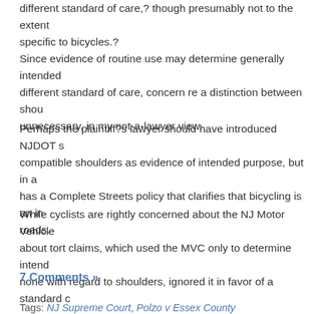different standard of care,? though presumably not to the extent specific to bicycles.?
Since evidence of routine use may determine generally intended different standard of care, concern re a distinction between shou unnecessary, in my not-a-lawyer view.
Perhaps the plaintiff?s lawyer should have introduced NJDOT s compatible shoulders as evidence of intended purpose, but in a has a Complete Streets policy that clarifies that bicycling is an i roads.
While cyclists are rightly concerned about the NJ Motor Vehicle about tort claims, which used the MVC only to determine intend none with regard to shoulders, ignored it in favor of a standard c
7 Comments »
Tags: NJ Supreme Court, Polzo v Essex County